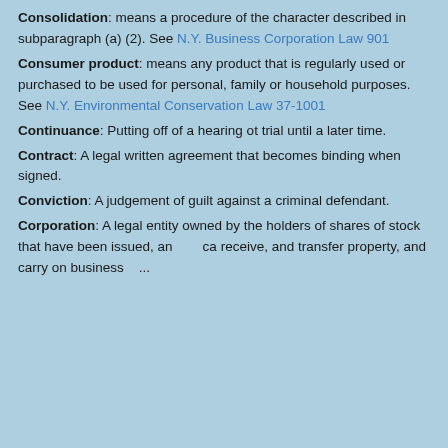Consolidation: means a procedure of the character described in subparagraph (a) (2). See N.Y. Business Corporation Law 901
Consumer product: means any product that is regularly used or purchased to be used for personal, family or household purposes. See N.Y. Environmental Conservation Law 37-1001
Continuance: Putting off of a hearing ot trial until a later time.
Contract: A legal written agreement that becomes binding when signed.
Conviction: A judgement of guilt against a criminal defendant.
Corporation: A legal entity owned by the holders of shares of stock that have been issued, and can sue, be sued, receive, and transfer property, and carry on business its...